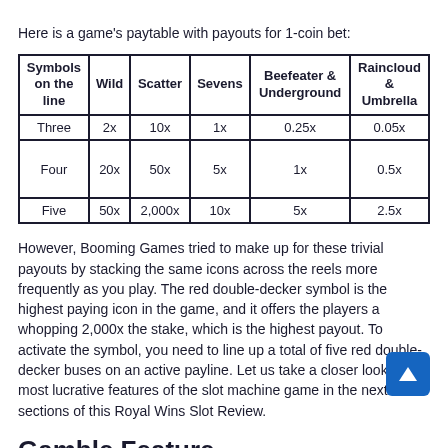Here is a game's paytable with payouts for 1-coin bet:
| Symbols on the line | Wild | Scatter | Sevens | Beefeater & Underground | Raincloud & Umbrella |
| --- | --- | --- | --- | --- | --- |
| Three | 2x | 10x | 1x | 0.25x | 0.05x |
| Four | 20x | 50x | 5x | 1x | 0.5x |
| Five | 50x | 2,000x | 10x | 5x | 2.5x |
However, Booming Games tried to make up for these trivial payouts by stacking the same icons across the reels more frequently as you play. The red double-decker symbol is the highest paying icon in the game, and it offers the players a whopping 2,000x the stake, which is the highest payout. To activate the symbol, you need to line up a total of five red double-decker buses on an active payline. Let us take a closer look at the most lucrative features of the slot machine game in the next sections of this Royal Wins Slot Review.
Gamble Feature
Whatever winnings that you may bag to make in this slot game,